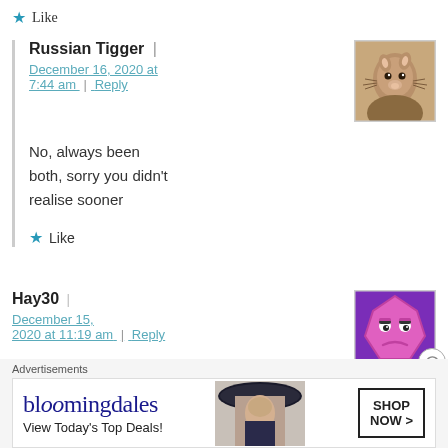★ Like
Russian Tigger | December 16, 2020 at 7:44 am | Reply
[Figure (photo): Avatar photo of a squirrel]
No, always been both, sorry you didn't realise sooner
★ Like
Hay30 | December 15, 2020 at 11:19 am | Reply
[Figure (illustration): Avatar of a grumpy pink octagon emoji face on purple background]
Done with Phase 1 for 3 days now. Have both
Advertisements
[Figure (screenshot): Bloomingdale's advertisement banner: bloomingdales logo, View Today's Top Deals!, woman with hat, SHOP NOW > button]